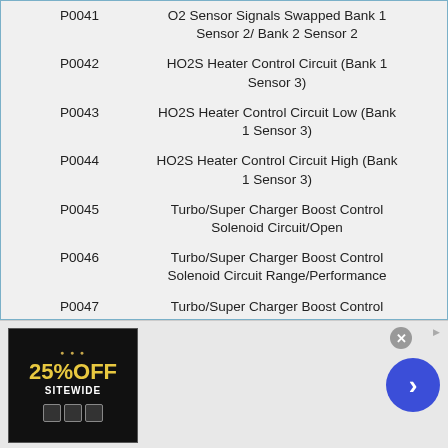| Code | Description |
| --- | --- |
| P0041 | O2 Sensor Signals Swapped Bank 1 Sensor 2/ Bank 2 Sensor 2 |
| P0042 | HO2S Heater Control Circuit (Bank 1 Sensor 3) |
| P0043 | HO2S Heater Control Circuit Low (Bank 1 Sensor 3) |
| P0044 | HO2S Heater Control Circuit High (Bank 1 Sensor 3) |
| P0045 | Turbo/Super Charger Boost Control Solenoid Circuit/Open |
| P0046 | Turbo/Super Charger Boost Control Solenoid Circuit Range/Performance |
| P0047 | Turbo/Super Charger Boost Control Solenoid Circuit Low |
[Figure (infographic): Advertisement banner with 25% OFF SITEWIDE offer and navigation arrow]